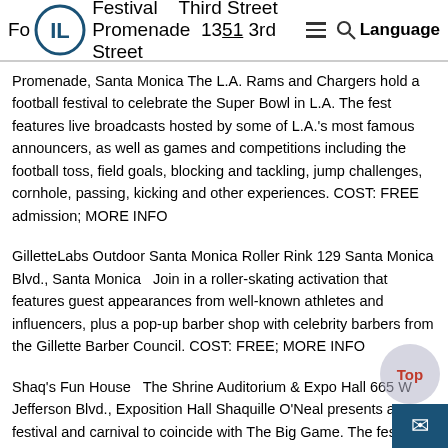Fo[Logo] Festival   Third Street Promenade  1351 3rd Street Language
Promenade, Santa Monica The L.A. Rams and Chargers hold a football festival to celebrate the Super Bowl in L.A. The fest features live broadcasts hosted by some of L.A.'s most famous announcers, as well as games and competitions including the football toss, field goals, blocking and tackling, jump challenges, cornhole, passing, kicking and other experiences. COST: FREE admission; MORE INFO
GilletteLabs Outdoor Santa Monica Roller Rink 129 Santa Monica Blvd., Santa Monica  Join in a roller-skating activation that features guest appearances from well-known athletes and influencers, plus a pop-up barber shop with celebrity barbers from the Gillette Barber Council. COST: FREE; MORE INFO
Shaq's Fun House  The Shrine Auditorium & Expo Hall 665 W Jefferson Blvd., Exposition Hall Shaquille O'Neal presents a festival and carnival to coincide with The Big Game. The fest features performances by Lil Wayne, Zedd, and Diplo; a full carnival mid…